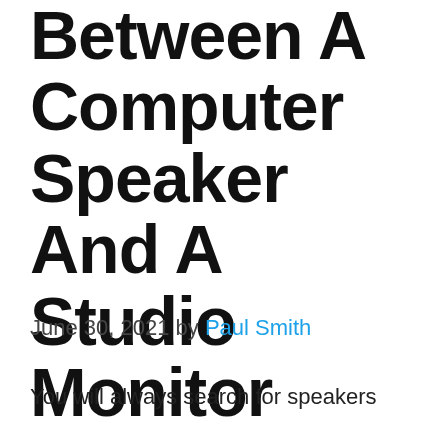Difference Between A Computer Speaker And A Studio Monitor
June 30, 2021 by Paul Smith
You will always search for speakers